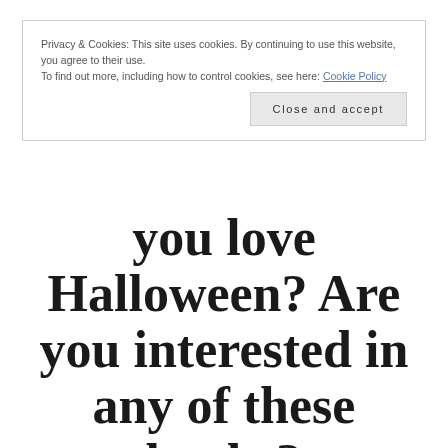Privacy & Cookies: This site uses cookies. By continuing to use this website, you agree to their use. To find out more, including how to control cookies, see here: Cookie Policy
Close and accept
you love Halloween? Are you interested in any of these books?